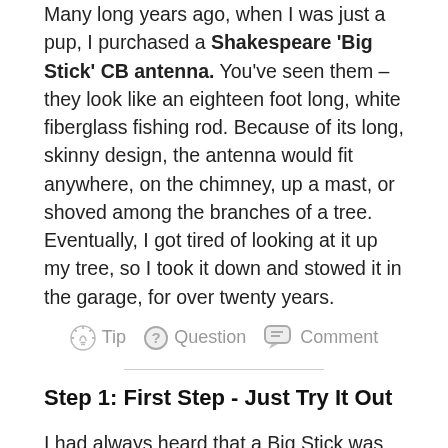Many long years ago, when I was just a pup, I purchased a Shakespeare 'Big Stick' CB antenna. You've seen them – they look like an eighteen foot long, white fiberglass fishing rod. Because of its long, skinny design, the antenna would fit anywhere, on the chimney, up a mast, or shoved among the branches of a tree. Eventually, I got tired of looking at it up my tree, so I took it down and stowed it in the garage, for over twenty years.
Tip   Question   Comment
Step 1: First Step - Just Try It Out
I had always heard that a Big Stick was wide banded, so I tried it on the10 meter Ham band – just a gnat's whisker from the 11 meter Citizens' Band. Not that